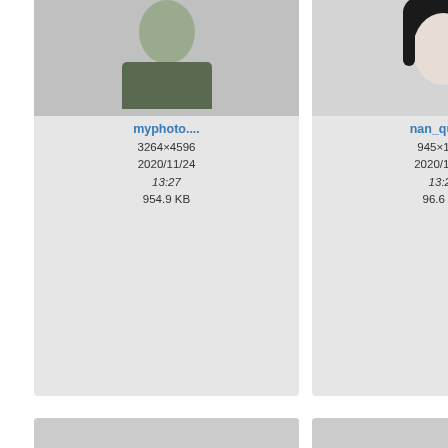[Figure (screenshot): File browser / image gallery showing thumbnail cards of image files with filenames, dimensions, dates, and sizes. Visible cards: myphoto.... (3264×4596, 2020/11/24 13:27, 954.9 KB), nan_qu.jpg (945×1323, 2020/11/24 13:27, 96.6 KB), nsc.jpeg (350×144, 2020/11/24 13:27, 6.2 KB), nsf.png (153×169, 2020/11/24 13:27, 44.4 KB), and partial cards cropped at edges.]